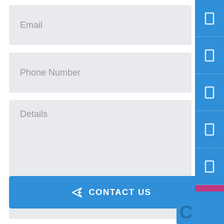Email
Phone Number
Details
CONTACT US
[Figure (screenshot): Contact form UI with Email, Phone Number, and Details input fields, a blue CONTACT US button, and a blue sidebar with small rectangle icons. A partially visible blue element appears at the bottom right.]